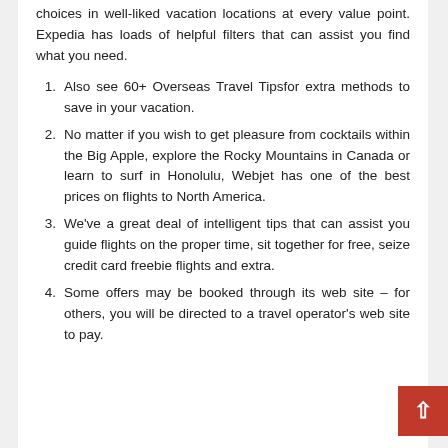choices in well-liked vacation locations at every value point. Expedia has loads of helpful filters that can assist you find what you need.
Also see 60+ Overseas Travel Tipsfor extra methods to save in your vacation.
No matter if you wish to get pleasure from cocktails within the Big Apple, explore the Rocky Mountains in Canada or learn to surf in Honolulu, Webjet has one of the best prices on flights to North America.
We've a great deal of intelligent tips that can assist you guide flights on the proper time, sit together for free, seize credit card freebie flights and extra.
Some offers may be booked through its web site – for others, you will be directed to a travel operator's web site to pay.